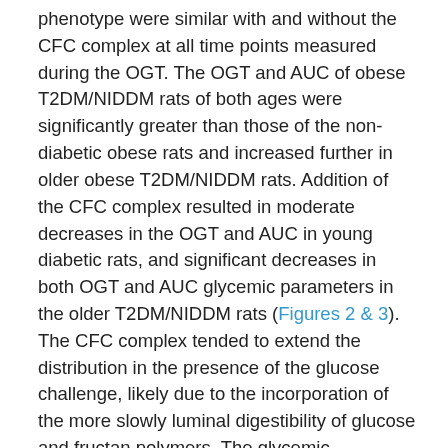phenotype were similar with and without the CFC complex at all time points measured during the OGT. The OGT and AUC of obese T2DM/NIDDM rats of both ages were significantly greater than those of the non-diabetic obese rats and increased further in older obese T2DM/NIDDM rats. Addition of the CFC complex resulted in moderate decreases in the OGT and AUC in young diabetic rats, and significant decreases in both OGT and AUC glycemic parameters in the older T2DM/NIDDM rats (Figures 2 & 3). The CFC complex tended to extend the distribution in the presence of the glucose challenge, likely due to the incorporation of the more slowly luminal digestibility of glucose and fructan polymers. The glycemic responses to OGT were significantly more impaired in the obese T2DM/NIDDM rats of both ages than was observed in the non-diabetic obese animals. In addition, in female LA/Ntul//-cp rats offered sucrose supplement in their drinking water for up to 30months of age also failed to demonstrate characteristics of diabetes but did demonstrate